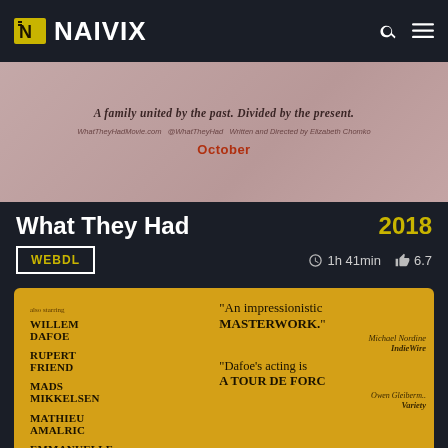NAIVIX
[Figure (photo): Pink/mauve movie banner for 'What They Had' with tagline 'A family united by the past. Divided by the present.' and release month 'October']
What They Had
2018
WEBDL  1h 41min  6.7
[Figure (photo): Golden yellow movie poster featuring cast names: Willem Dafoe, Rupert Friend, Mads Mikkelsen, Mathieu Amalric, Emmanuelle Seigner, with review quotes: 'An impressionistic MASTERWORK.' - Michael Nordine, IndieWire; 'Dafoe's acting is A TOUR DE FORCE' - Owen Gleiberman, Variety]